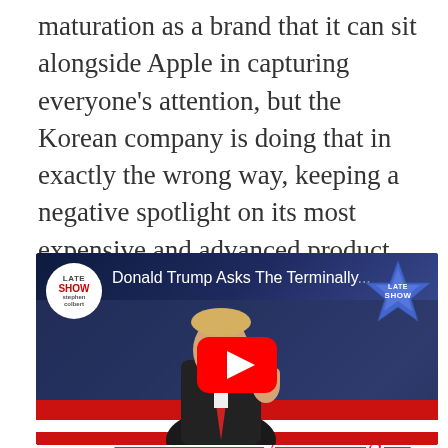maturation as a brand that it can sit alongside Apple in capturing everyone's attention, but the Korean company is doing that in exactly the wrong way, keeping a negative spotlight on its most expensive and advanced product. Last night, even The Late Show with Stephen Colbert dedicated a segment of its opening to tease Samsung, splicing it in between talk of Elon Musk daydreaming of living in the Matrix and Donald Trump being Donald Trump.
[Figure (screenshot): YouTube video embed showing 'Donald Trump Asks The Terminally...' from the Late Show with Stephen Colbert channel. Shows Donald Trump at a podium with red/white backdrop. Late Show star logo visible top right. YouTube play button in center.]